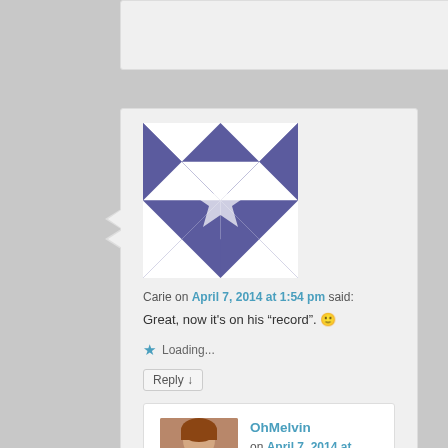[Figure (illustration): Partial top comment box, mostly empty, clipped at top of page]
Carie on April 7, 2014 at 1:54 pm said:
Great, now it's on his “record”. 🙂
Loading...
Reply ↓
OhMelvin on April 7, 2014 at 2:26 pm said:
Permanent! This post will follow him forever!
Loading...